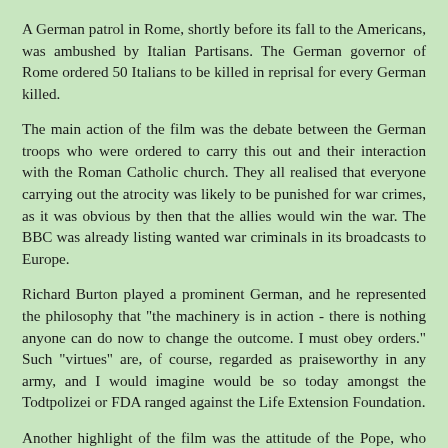A German patrol in Rome, shortly before its fall to the Americans, was ambushed by Italian Partisans. The German governor of Rome ordered 50 Italians to be killed in reprisal for every German killed.
The main action of the film was the debate between the German troops who were ordered to carry this out and their interaction with the Roman Catholic church. They all realised that everyone carrying out the atrocity was likely to be punished for war crimes, as it was obvious by then that the allies would win the war. The BBC was already listing wanted war criminals in its broadcasts to Europe.
Richard Burton played a prominent German, and he represented the philosophy that "the machinery is in action - there is nothing anyone can do now to change the outcome. I must obey orders." Such "virtues" are, of course, regarded as praiseworthy in any army, and I would imagine would be so today amongst the Todtpolizei or FDA ranged against the Life Extension Foundation.
Another highlight of the film was the attitude of the Pope, who delivered a brilliant axe kneeling encyclical to the people of Rome asking them not to retaliate for the National Socialist atrocity. One of the Germans had contacted a Roman Catholic priest and asked him to try and get the Pope to intercede with the Germans on behalf of the people put down for reprisal execution. According to